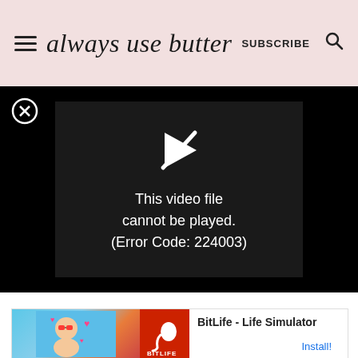always use butter — SUBSCRIBE
[Figure (screenshot): Video player showing error message: 'This video file cannot be played. (Error Code: 224003)' on black background]
[Figure (screenshot): Advertisement banner for 'BitLife - Life Simulator' app with Install button]